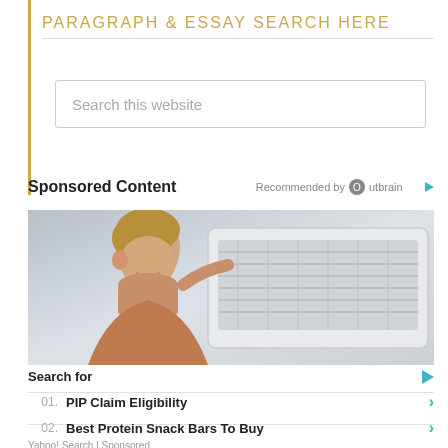PARAGRAPH & ESSAY SEARCH HERE
Search this website
Sponsored Content
Recommended by Outbrain
[Figure (photo): Man smiling while looking at an air conditioning unit mounted on a wall]
Search for
01. PIP Claim Eligibility
02. Best Protein Snack Bars To Buy
Yahoo! Search | Sponsored